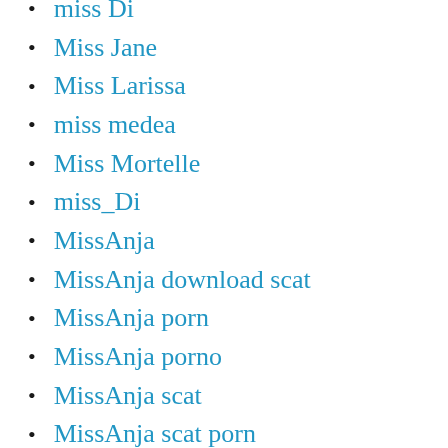miss Di
Miss Jane
Miss Larissa
miss medea
Miss Mortelle
miss_Di
MissAnja
MissAnja download scat
MissAnja porn
MissAnja porno
MissAnja scat
MissAnja scat porn
MissDecadoria
Missellie8
Missionary
MissMortelle
Mistress